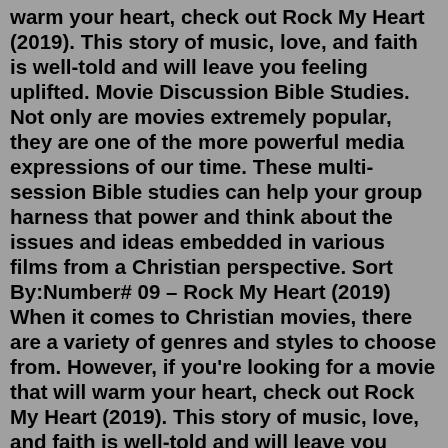warm your heart, check out Rock My Heart (2019). This story of music, love, and faith is well-told and will leave you feeling uplifted. Movie Discussion Bible Studies. Not only are movies extremely popular, they are one of the more powerful media expressions of our time. These multi-session Bible studies can help your group harness that power and think about the issues and ideas embedded in various films from a Christian perspective. Sort By:Number# 09 – Rock My Heart (2019) When it comes to Christian movies, there are a variety of genres and styles to choose from. However, if you're looking for a movie that will warm your heart, check out Rock My Heart (2019). This story of music, love, and faith is well-told and will leave you feeling uplifted. my favorite christian movies i was able to find on youtube.. Share your videos with friends, family, and the world Christian Movies; 1:46:35. Christian Movie 2020 "Branded" | Persecution and Hardship Strengthens Her Faith in God. 2:54:51. Full Christian Movie | "Stinging Memories" | A Church Elder's Repentance. 2:43:51